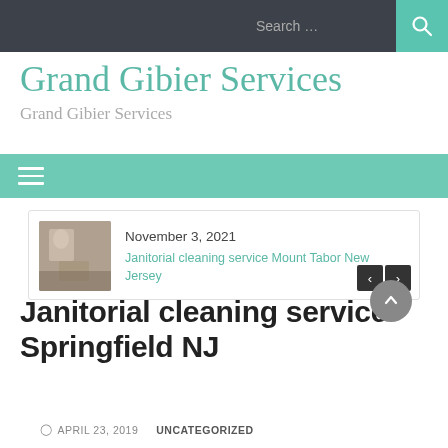Search ...
Grand Gibier Services
Grand Gibier Services
[Figure (screenshot): Navigation bar with hamburger menu icon on teal/green background]
[Figure (screenshot): Carousel card with thumbnail image, date November 3, 2021, and link: Janitorial cleaning service Mount Tabor New Jersey]
Janitorial cleaning service Springfield NJ
APRIL 23, 2019   UNCATEGORIZED